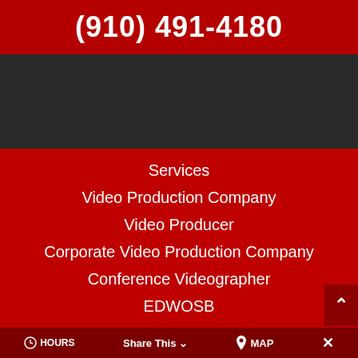(910) 491-4180
[Figure (screenshot): Dark navigation bar area with logo/image background]
Services
Video Production Company
Video Producer
Corporate Video Production Company
Conference Videographer
EDWOSB
HOURS   Share This   MAP   ✕